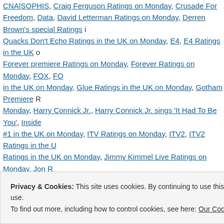CNA|SOPHIS, Craig Ferguson Ratings on Monday, Crusade For Freedom, Data, David Letterman Ratings on Monday, Derren Brown's special Ratings, Quacks Don't Echo Ratings in the UK on Monday, E4, E4 Ratings in the UK, Forever premiere Ratings on Monday, Forever Ratings on Monday, FOX, FOX in the UK on Monday, Glue Ratings in the UK on Monday, Gotham Premiere Monday, Harry Connick Jr., Harry Connick Jr. sings 'It Had To Be You', Inside #1 in the UK on Monday, ITV Ratings on Monday, ITV2, ITV2 Ratings in the UK, Ratings in the UK on Monday, Jimmy Kimmel Live Ratings on Monday, Jon R Monday, Lance Hanish, Media, Media Analysis, Media Management, Mobile, biggest program on Monday, Monday Night Football Ratings, NBC, NBC Ratings Australia on Tuesday, Network Seven #1 in Australia on Monday, New Tricks, Jets Ratings on Monday, Nightline Ratings on Monday, Nine News 6:30 Ratings, Ratings in Australia on Monday, Only Connect Ratings in the UK on Monday, Plebs Ratings in the UK on Monday, Release The Hounds Ratings in the UK, Monday, Scorpion Premiere Ratings on Monday, Scorpion Ratings on Monday, News Ratings in Australia on Monday, Seven News/Today Tonight Ratings in, in the UK on Monday, SKY1, Sky1 Ratings in the UK on Monday, Sleep Hollow, Season Premiere Ratings on Monday, Telemundo, Telemundo Ratings on Monday
Privacy & Cookies: This site uses cookies. By continuing to use this website, you agree to their use. To find out more, including how to control cookies, see here: Our Cookie Policy